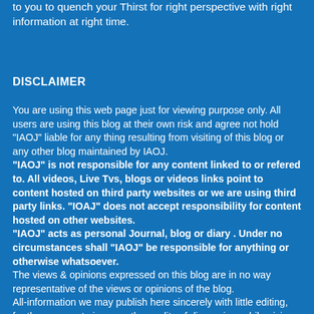to you to quench your Thirst for right perspective with right information at right time.
DISCLAIMER
You are using this web page just for viewing purpose only. All users are using this blog at their own risk and agree not hold "IAOJ" liable for any thing resulting from visiting of this blog or any other blog maintained by IAOJ.
"IAOJ" is not responsible for any content linked to or refered to. All videos, Live Tvs, blogs or videos links point to content hosted on third party websites or we are using third party links. "IOAJ" does not accept responsibility for content hosted on other websites.
"IAOJ" acts as personal Journal, blog or diary . Under no circumstances shall "IAOJ" be responsible for anything or otherwise whatsoever.
The views & opinions expressed on this blog are in no way representative of the views or opinions of the blog.
All-information we may publish here sincerely with little editing, for the reasons to improve the quality of discussion, while giving the maximum room for freedom of expression, clarity & space and it deemed reliable but not guaranteed and should be independently verified...